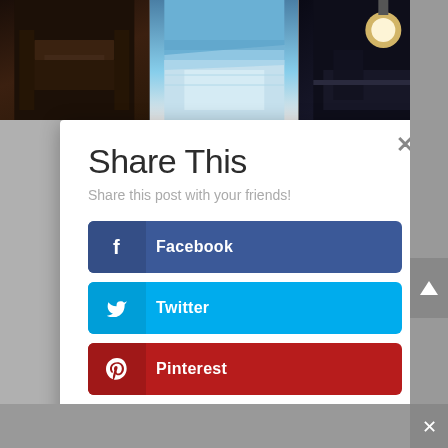[Figure (photo): Three interior/exterior architectural photos in a horizontal strip at top of page]
Share This
Share this post with your friends!
Facebook
Twitter
Pinterest
Tumblr
LinkedIn
Google+